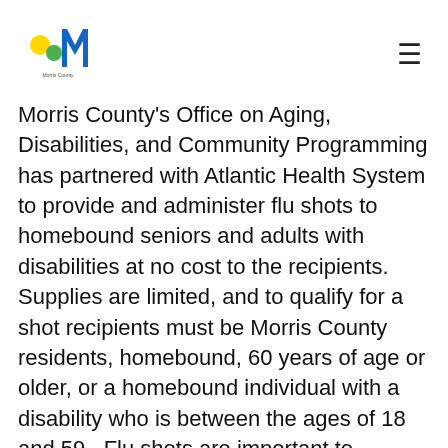[Morris County logo] [hamburger menu]
Morris County's Office on Aging, Disabilities, and Community Programming has partnered with Atlantic Health System to provide and administer flu shots to homebound seniors and adults with disabilities at no cost to the recipients. Supplies are limited, and to qualify for a shot recipients must be Morris County residents, homebound, 60 years of age or older, or a homebound individual with a disability who is between the ages of 18 and 59. Flu shots are important to populations such as seniors and people with disabilities, who are more vulnerable to flu-associated complications.